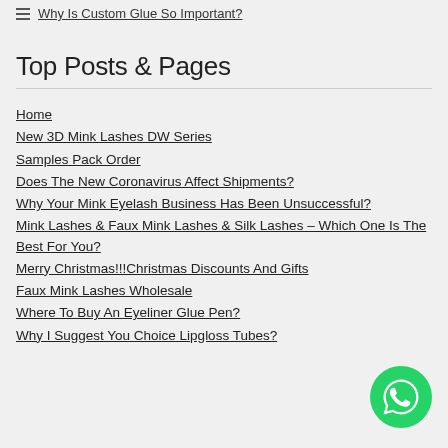Why Is Custom Glue So Important?
Top Posts & Pages
Home
New 3D Mink Lashes DW Series
Samples Pack Order
Does The New Coronavirus Affect Shipments?
Why Your Mink Eyelash Business Has Been Unsuccessful?
Mink Lashes & Faux Mink Lashes & Silk Lashes – Which One Is The Best For You?
Merry Christmas!!!Christmas Discounts And Gifts
Faux Mink Lashes Wholesale
Where To Buy An Eyeliner Glue Pen?
Why I Suggest You Choice Lipgloss Tubes?
[Figure (logo): WhatsApp contact button - green circular icon with phone handset symbol]